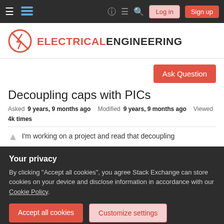Navigation bar: hamburger menu, Stack Exchange logo, help, chat, search icons, Log in and Sign up buttons
[Figure (logo): Electrical Engineering Stack Exchange logo: red circle with lightning bolt and an X, followed by ELECTRICAL in red bold and ENGINEERING in dark bold]
Ask Question
Decoupling caps with PICs
Asked 9 years, 9 months ago   Modified 9 years, 9 months ago   Viewed 4k times
I'm working on a project and read that decoupling
Your privacy
By clicking "Accept all cookies", you agree Stack Exchange can store cookies on your device and disclose information in accordance with our Cookie Policy.
Accept all cookies   Customize settings